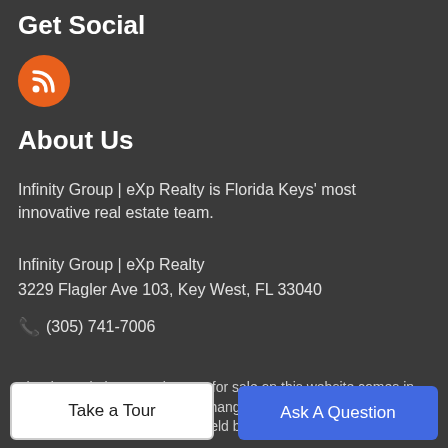Get Social
[Figure (illustration): Orange circle RSS feed icon]
About Us
Infinity Group | eXp Realty is Florida Keys' most innovative real estate team.
Infinity Group | eXp Realty
3229 Flagler Ave 103, Key West, FL 33040
☎ (305) 741-7006
The data relating to real estate for sale on this website comes in part from the Internet Data Exchange program of the Florida Keys MLS, Inc. Real estate listings held by brokerage firms other than
Take a Tour
Ask A Question